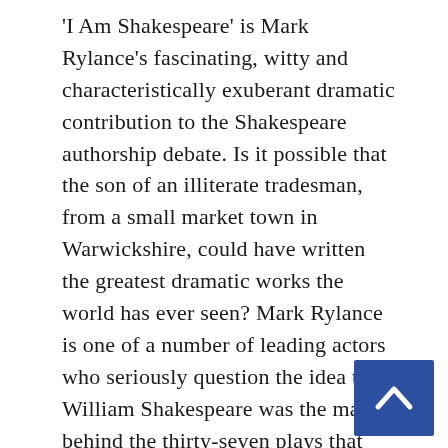'I Am Shakespeare' is Mark Rylance's fascinating, witty and characteristically exuberant dramatic contribution to the Shakespeare authorship debate. Is it possible that the son of an illiterate tradesman, from a small market town in Warwickshire, could have written the greatest dramatic works the world has ever seen? Mark Rylance is one of a number of leading actors who seriously question the idea that William Shakespeare was the man behind the thirty-seven plays that have moved, inspired and amazed generations. First performed at Chichester Festival Theatre in 2007, Rylance's provocative play introduces us to the main candidates and their respective claims whilst asking fundamental questions